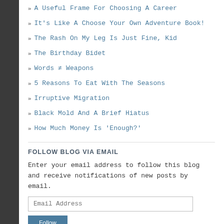» A Useful Frame For Choosing A Career
» It's Like A Choose Your Own Adventure Book!
» The Rash On My Leg Is Just Fine, Kid
» The Birthday Bidet
» Words ≠ Weapons
» 5 Reasons To Eat With The Seasons
» Irruptive Migration
» Black Mold And A Brief Hiatus
» How Much Money Is 'Enough?'
FOLLOW BLOG VIA EMAIL
Enter your email address to follow this blog and receive notifications of new posts by email.